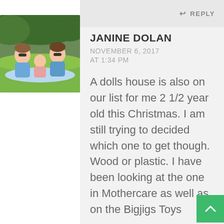[Figure (photo): Profile photo of a family (couple with child) sitting in a green outdoor setting]
REPLY
JANINE DOLAN
NOVEMBER 6, 2017 AT 1:34 PM
A dolls house is also on our list for me 2 1/2 year old this Christmas. I am still trying to decided which one to get though. Wood or plastic. I have been looking at the one in Mothercare as well as on the Bigjigs Toys